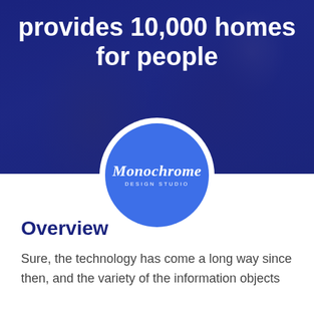provides 10,000 homes for people
[Figure (logo): Monochrome Design Studio logo — circular blue badge with white script text 'Monochrome' and subtitle 'DESIGN STUDIO']
Overview
Sure, the technology has come a long way since then, and the variety of the information objects